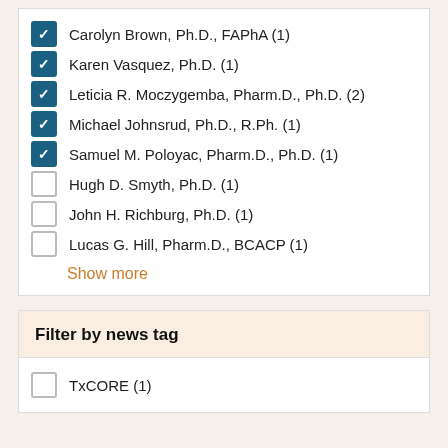Carolyn Brown, Ph.D., FAPhA (1)
Karen Vasquez, Ph.D. (1)
Leticia R. Moczygemba, Pharm.D., Ph.D. (2)
Michael Johnsrud, Ph.D., R.Ph. (1)
Samuel M. Poloyac, Pharm.D., Ph.D. (1)
Hugh D. Smyth, Ph.D. (1)
John H. Richburg, Ph.D. (1)
Lucas G. Hill, Pharm.D., BCACP (1)
Show more
Filter by news tag
TxCORE (1)